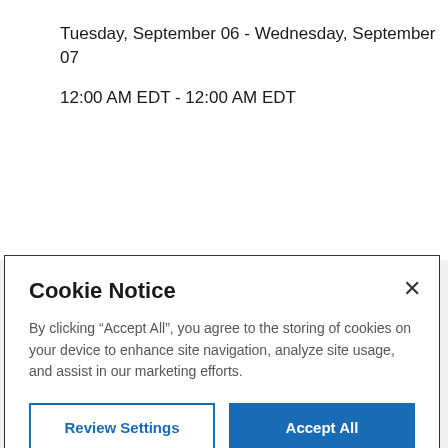Tuesday, September 06 - Wednesday, September 07
12:00 AM EDT - 12:00 AM EDT
Cookie Notice
By clicking “Accept All”, you agree to the storing of cookies on your device to enhance site navigation, analyze site usage, and assist in our marketing efforts.
Review Settings
Accept All